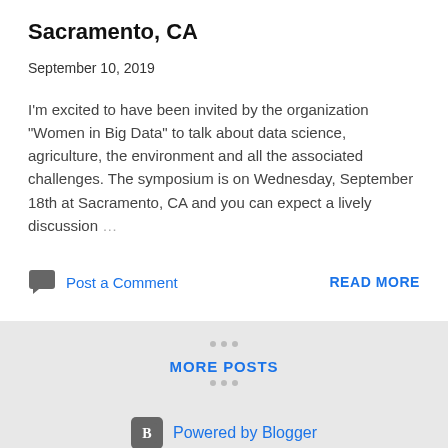Sacramento, CA
September 10, 2019
I'm excited to have been invited by the organization "Women in Big Data" to talk about data science, agriculture, the environment and all the associated challenges. The symposium is on Wednesday, September 18th at Sacramento, CA and you can expect a lively discussion…
Post a Comment
READ MORE
MORE POSTS
Powered by Blogger